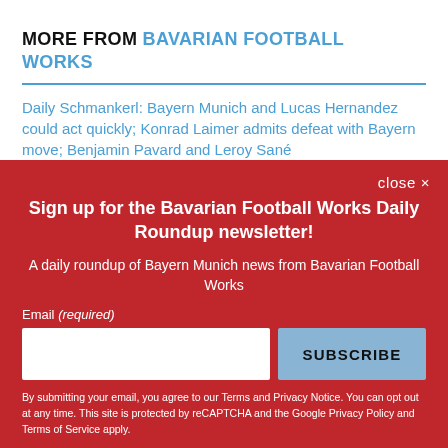MORE FROM BAVARIAN FOOTBALL WORKS
Daily Schmankerl: Bayern Munich and Lucas Hernandez could act quickly; Konrad Laimer admits defeat with Bayern move; Benjamin Pavard and Leroy Sané
Sign up for the Bavarian Football Works Daily Roundup newsletter!
A daily roundup of Bayern Munich news from Bavarian Football Works
Email (required)
SUBSCRIBE
By submitting your email, you agree to our Terms and Privacy Notice. You can opt out at any time. This site is protected by reCAPTCHA and the Google Privacy Policy and Terms of Service apply.